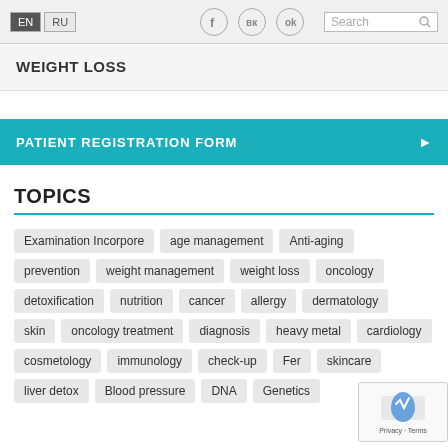EN | RU | [social icons] | Search
WEIGHT LOSS
PATIENT REGISTRATION FORM
TOPICS
Examination Incorpore
age management
Anti-aging
prevention
weight management
weight loss
oncology
detoxification
nutrition
cancer
allergy
dermatology
skin
oncology treatment
diagnosis
heavy metal
cardiology
cosmetology
immunology
check-up
Fer…
skincare
liver detox
Blood pressure
DNA
Genetics